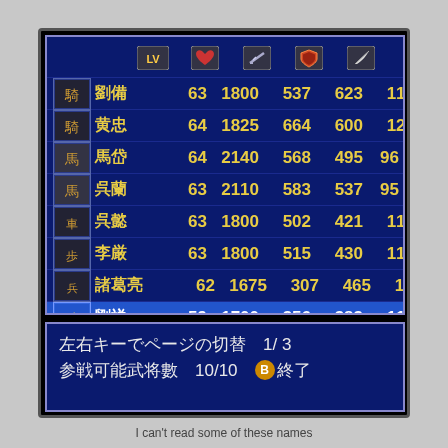[Figure (screenshot): Japanese RPG/strategy game character selection screen showing a list of 8 characters with stats: LV (level), HP, attack, defense, and speed. Characters listed: 劉備 (63, 1800, 537, 623, 119), 黄忠 (64, 1825, 664, 600, 120), 馬岱 (64, 2140, 568, 495, 96), 呉蘭 (63, 2110, 583, 537, 95), 呉懿 (63, 1800, 502, 421, 119), 李厳 (63, 1800, 515, 430, 119), 諸葛亮 (62, 1675, 307, 465, 170), 劉禅 (59, 1700, 356, 383, 112) — last row highlighted in blue. Bottom panel shows navigation text in Japanese.]
I can't read some of these names